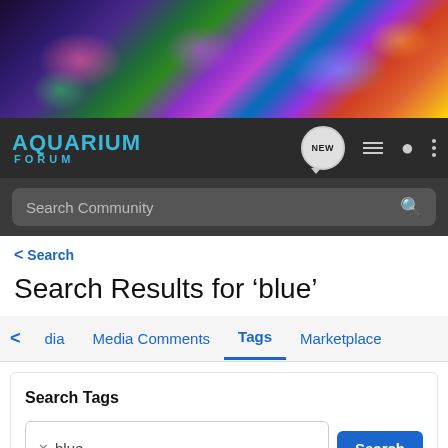[Figure (photo): Colorful coral reef aquarium banner image with purple, green, pink, and orange corals and fish]
[Figure (screenshot): Aquarium Forum navigation bar with logo, NEW chat bubble, list icon, user icon, and dots menu]
Search Community
< Search
Search Results for ‘blue’
< dia   Media Comments   Tags   Marketplace
Search Tags
x blue   Search